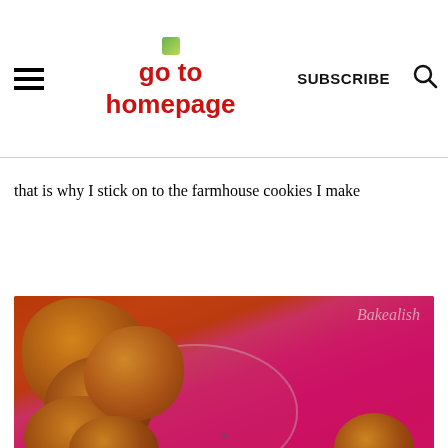go to homepage | SUBSCRIBE
that is why I stick on to the farmhouse cookies I make
[Figure (photo): Farmhouse cookies in a glass bowl against a pink/magenta background, with watermark text 'Bakealish']
Bakealish